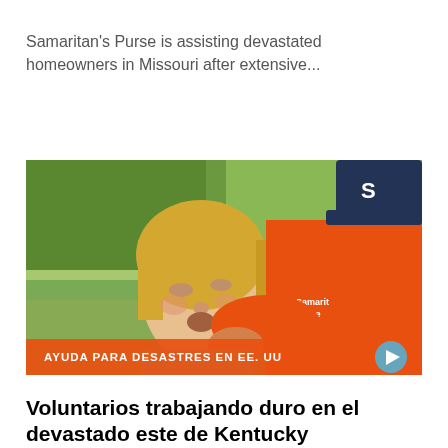Samaritan's Purse is assisting devastated homeowners in Missouri after extensive...
[Figure (photo): A woman with blonde hair crying and hugging a person wearing an orange Samaritan's Purse vest. The image has an orange banner at the bottom reading 'AYUDA PARA DESASTRES EN EE. UU' with a play button icon.]
Voluntarios trabajando duro en el devastado este de Kentucky
Please continue to pray for those hurting and consider volunteering as we help...